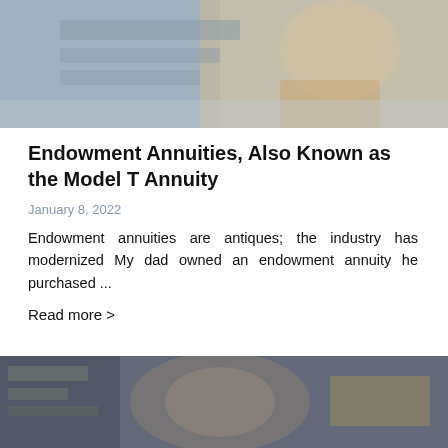[Figure (photo): Person sitting at a desk with papers and documents, partially cropped at top of page]
Endowment Annuities, Also Known as the Model T Annuity
January 8, 2022
Endowment annuities are antiques; the industry has modernized My dad owned an endowment annuity he purchased ...
Read more >
[Figure (photo): Close-up of US currency, a $100 bill showing Benjamin Franklin's face, partially cropped at bottom of page]